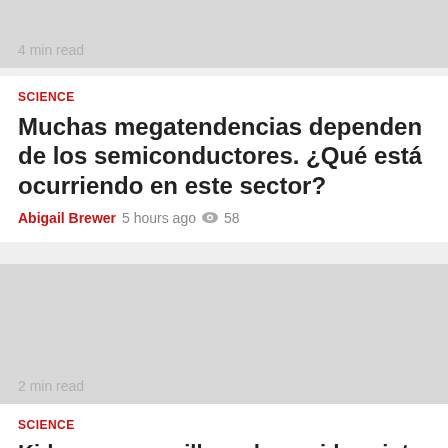[Figure (photo): Gray placeholder image at top, partially visible, with '4 min read' label]
4 min read
SCIENCE
Muchas megatendencias dependen de los semiconductores. ¿Qué está ocurriendo en este sector?
Abigail Brewer  5 hours ago  58
[Figure (photo): Gray placeholder image with '2 min read' label]
2 min read
SCIENCE
Kids program will send your ideas into space
Abigail Brewer  1 day ago  149